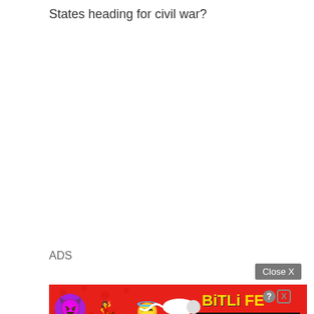States heading for civil war?
ADS
[Figure (screenshot): Close X button (grey background, white text)]
[Figure (screenshot): BitLife mobile game advertisement banner with red background, emojis (devil, dancing woman, angel smiley), sperm pill graphic, BitLife logo in yellow, question and close badge icons, and 'REAL CHOICES' text on black bar.]